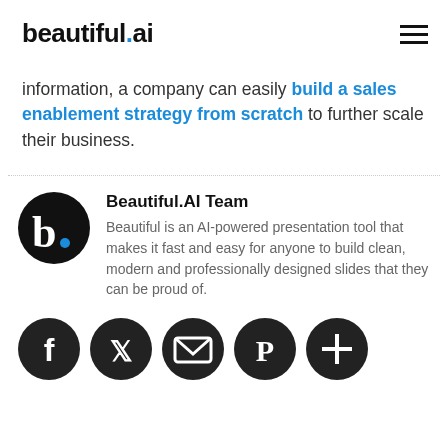beautiful.ai
information, a company can easily build a sales enablement strategy from scratch to further scale their business.
Beautiful.AI Team
Beautiful is an AI-powered presentation tool that makes it fast and easy for anyone to build clean, modern and professionally designed slides that they can be proud of.
[Figure (logo): Row of social media icons: Facebook, Twitter, Email, Pinterest, Plus]